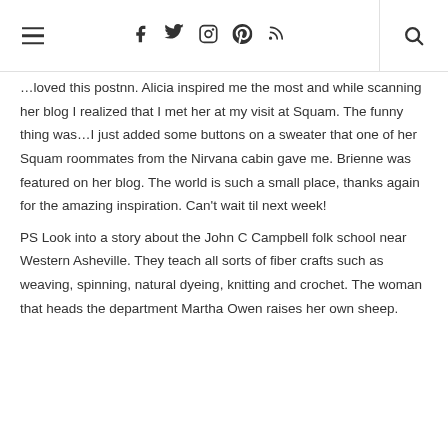navigation bar with hamburger menu, social icons (Facebook, Twitter, Instagram, Pinterest, RSS), and search
…loved this postnn. Alicia inspired me the most and while scanning her blog I realized that I met her at my visit at Squam. The funny thing was…I just added some buttons on a sweater that one of her Squam roommates from the Nirvana cabin gave me. Brienne was featured on her blog. The world is such a small place, thanks again for the amazing inspiration. Can't wait til next week! PS Look into a story about the John C Campbell folk school near Western Asheville. They teach all sorts of fiber crafts such as weaving, spinning, natural dyeing, knitting and crochet. The woman that heads the department Martha Owen raises her own sheep.